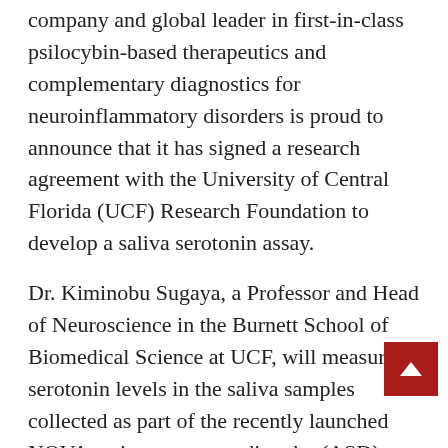company and global leader in first-in-class psilocybin-based therapeutics and complementary diagnostics for neuroinflammatory disorders is proud to announce that it has signed a research agreement with the University of Central Florida (UCF) Research Foundation to develop a saliva serotonin assay.
Dr. Kiminobu Sugaya, a Professor and Head of Neuroscience in the Burnett School of Biomedical Science at UCF, will measure serotonin levels in the saliva samples collected as part of the recently launched NOVA autism spectrum disorder (ASD) observational study.
“This scientific relationship with Dr. Sugaya and UCF will allow the development of a potential groundbreaking serotonin assay that will measure levels of serotonin that is contained within vesicles